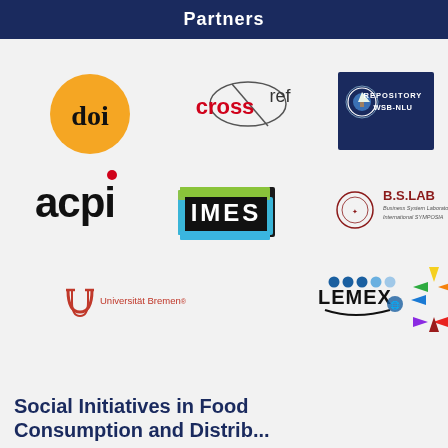Partners
[Figure (logo): Partner logos: DOI (orange circle), CrossRef, Repository WSB-NLU, acpi, IMES, B.S.LAB Business System Laboratory International SYMPOSIA, Universität Bremen, LEMEX, Center for Innovatics WSB NLU]
Social Initiatives in Food Consumption and Distribution: Best